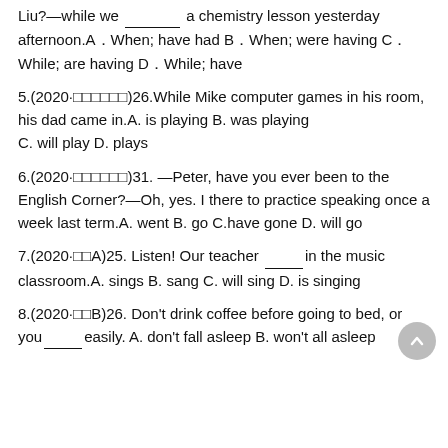Liu?—while we ________ a chemistry lesson yesterday afternoon.A．When; have had B．When; were having C．While; are having D．While; have
5.(2020·□□□□□□)26.While Mike computer games in his room, his dad came in.A. is playing B. was playing C. will play D. plays
6.(2020·□□□□□□)31. —Peter, have you ever been to the English Corner?—Oh, yes. I there to practice speaking once a week last term.A. went B. go C.have gone D. will go
7.(2020·□□A)25. Listen! Our teacher ______in the music classroom.A. sings B. sang C. will sing D. is singing
8.(2020·□□B)26. Don't drink coffee before going to bed, or you____easily. A. don't fall asleep B. won't all asleep